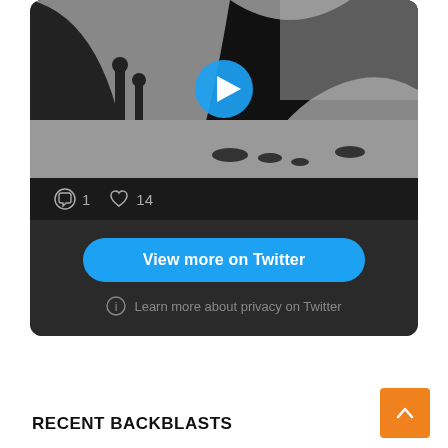[Figure (screenshot): Twitter/social media embed card with a black and white video thumbnail showing people on a beach with a large curved object, a blue play button overlay, comment icon with count 1, heart icon with count 14, a blue 'View more on Twitter' button, and a privacy notice link.]
1
14
View more on Twitter
Learn more about privacy on Twitter
RECENT BACKBLASTS